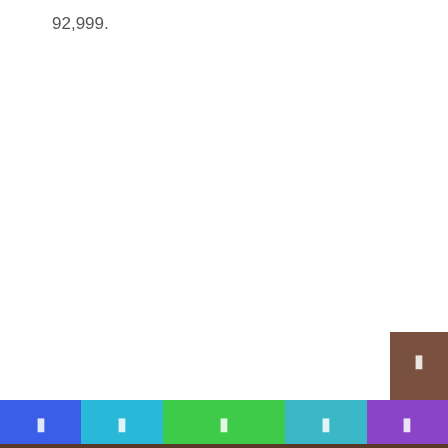92,999.
[Figure (infographic): Navigation toolbar with colored buttons (blue, cyan, green, teal, purple) at the bottom, a brown square button above the toolbar on the right side, and a dark brown strip at the very bottom.]